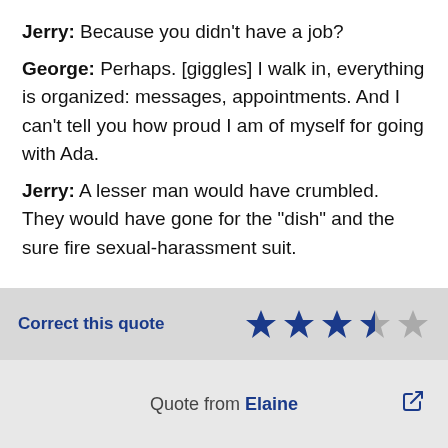Jerry: Because you didn't have a job?
George: Perhaps. [giggles] I walk in, everything is organized: messages, appointments. And I can't tell you how proud I am of myself for going with Ada.
Jerry: A lesser man would have crumbled. They would have gone for the "dish" and the sure fire sexual-harassment suit.
Correct this quote
[Figure (other): Star rating: 3.5 out of 5 stars (4 filled/half stars, 1 empty)]
Quote from Elaine